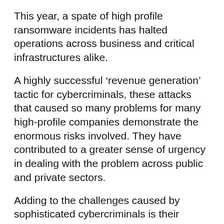This year, a spate of high profile ransomware incidents has halted operations across business and critical infrastructures alike.
A highly successful ‘revenue generation’ tactic for cybercriminals, these attacks that caused so many problems for many high-profile companies demonstrate the enormous risks involved. They have contributed to a greater sense of urgency in dealing with the problem across public and private sectors.
Adding to the challenges caused by sophisticated cybercriminals is their constantly changing tactics to stay one step ahead of potential victims.
For example, there is growing concern about the risks inherent in relying on a single vendor for security infrastructure, as attackers step up their efforts to exploit single vendor vulnerabilities. In doing so, the danger is that successful attacks provide access to entire networks and their wider